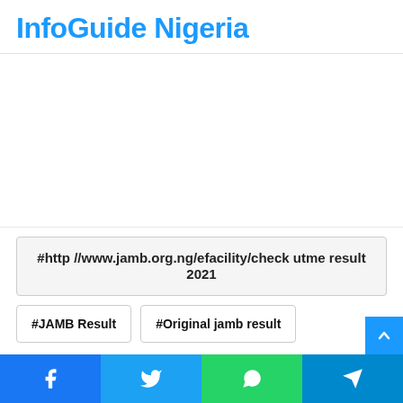InfoGuide Nigeria
[Figure (other): Advertisement/blank area placeholder]
#http //www.jamb.org.ng/efacility/check utme result 2021
#JAMB Result
#Original jamb result